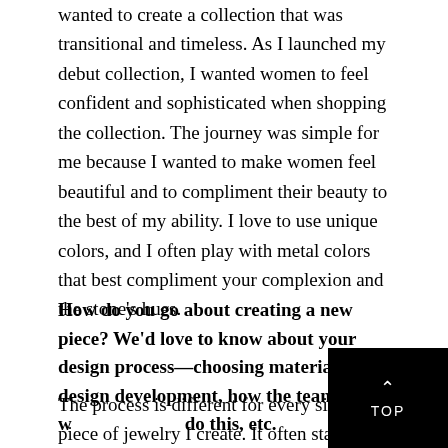wanted to create a collection that was transitional and timeless. As I launched my debut collection, I wanted women to feel confident and sophisticated when shopping the collection. The journey was simple for me because I wanted to make women feel beautiful and to compliment their beauty to the best of my ability. I love to use unique colors, and I often play with metal colors that best compliment your complexion and the stone's hues.
How do you go about creating a new piece? We'd love to know about your design process—choosing materials, design development, how the team w… do this, etc.
The process is different for every single piece of jewelry I create. It often starts with a simple sketch during a random moment, and it progresses into a scaled drawing